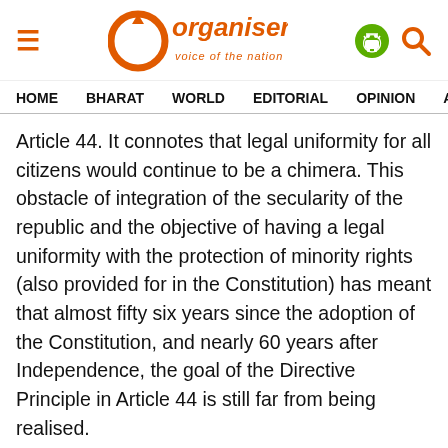Organiser — voice of the nation
HOME  BHARAT  WORLD  EDITORIAL  OPINION  ANA
Article 44. It connotes that legal uniformity for all citizens would continue to be a chimera. This obstacle of integration of the secularity of the republic and the objective of having a legal uniformity with the protection of minority rights (also provided for in the Constitution) has meant that almost fifty six years since the adoption of the Constitution, and nearly 60 years after Independence, the goal of the Directive Principle in Article 44 is still far from being realised.
Much as the government may desire to improve the lot of minorities, the minorities themselves have to give a helping hand to the government. It is alright